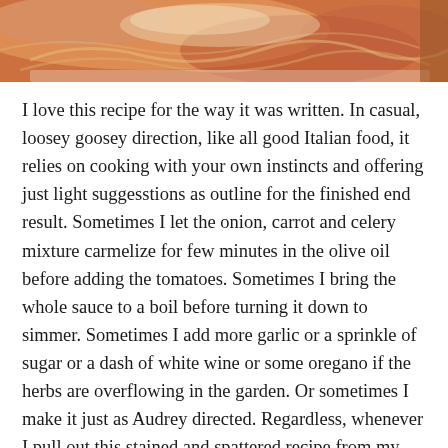[Figure (photo): Top portion of a food photo showing pasta with tomato sauce and shredded cheese/meat on a white plate, cropped at the top of the page]
I love this recipe for the way it was written. In casual, loosey goosey direction, like all good Italian food, it relies on cooking with your own instincts and offering just light suggesstions as outline for the finished end result. Sometimes I let the onion, carrot and celery mixture carmelize for few minutes in the olive oil before adding the tomatoes. Sometimes I bring the whole sauce to a boil before turning it down to simmer. Sometimes I add more garlic or a sprinkle of sugar or a dash of white wine or some oregano if the herbs are overflowing in the garden. Or sometimes I make it just as Audrey directed. Regardless, whenever I pull out this stained and spattered recipe from my makeshift book, I like to think of Audrey Hepburn, the glamorous interantional icon now turned regular, every day home cook, standing